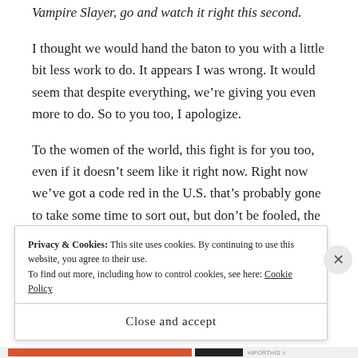Vampire Slayer, go and watch it right this second.
I thought we would hand the baton to you with a little bit less work to do. It appears I was wrong. It would seem that despite everything, we’re giving you even more to do. So to you too, I apologize.
To the women of the world, this fight is for you too, even if it doesn’t seem like it right now. Right now we’ve got a code red in the U.S. that’s probably gone to take some time to sort out, but don’t be fooled, the fight there is the fight for you as well.
Privacy & Cookies: This site uses cookies. By continuing to use this website, you agree to their use.
To find out more, including how to control cookies, see here: Cookie Policy
Close and accept